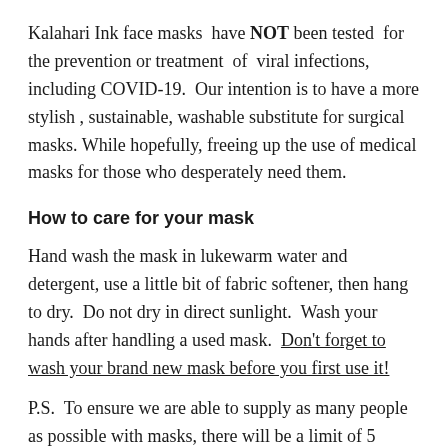Kalahari Ink face masks have NOT been tested for the prevention or treatment of viral infections, including COVID-19. Our intention is to have a more stylish , sustainable, washable substitute for surgical masks. While hopefully, freeing up the use of medical masks for those who desperately need them.
How to care for your mask
Hand wash the mask in lukewarm water and detergent, use a little bit of fabric softener, then hang to dry.  Do not dry in direct sunlight.  Wash your hands after handling a used mask.  Don't forget to wash your brand new mask before you first use it!
P.S.  To ensure we are able to supply as many people as possible with masks, there will be a limit of 5 masks per order. Our masks are NOT FOR RE-SALE.